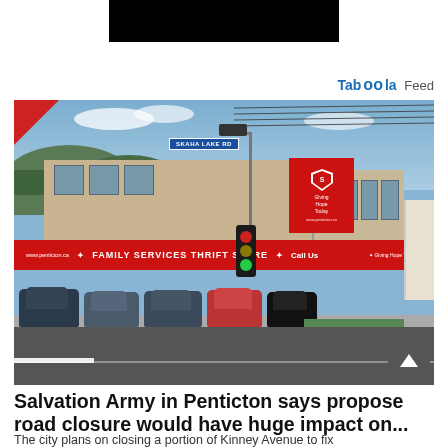[Figure (photo): Black redacted/censored bar at the top center of the page]
Taboola Feed
[Figure (photo): Street-level photograph of the Salvation Army Family Services Thrift Store in Penticton, BC. A red storefront building with a large sign reading 'FAMILY SERVICES THRIFT STORE', a street sign for Skaha Lake Rd, a traffic light, parked cars in the foreground, hills and blue sky in the background. A Salvation Army shield logo with 'Giving Hope Today' text is visible on the right side of the building.]
Salvation Army in Penticton says proposed road closure would have huge impact on...
The city plans on closing a portion of Kinney Avenue to fix